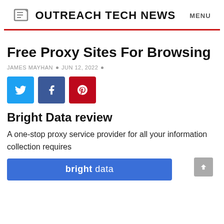OUTREACH TECH NEWS  MENU
Free Proxy Sites For Browsing
JAMES MAYHAN  •  JUN 12, 2022  •
[Figure (other): Social sharing buttons: Twitter (blue), Facebook (dark blue), Pinterest (red)]
Bright Data review
A one-stop proxy service provider for all your information collection requires
[Figure (other): Bright Data banner in blue with bold 'bright' and lighter 'data' text]